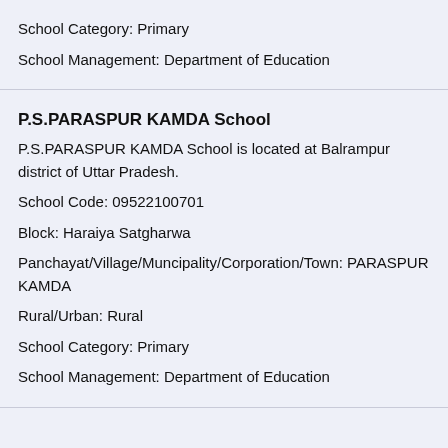School Category: Primary
School Management: Department of Education
P.S.PARASPUR KAMDA School
P.S.PARASPUR KAMDA School is located at Balrampur district of Uttar Pradesh.
School Code: 09522100701
Block: Haraiya Satgharwa
Panchayat/Village/Muncipality/Corporation/Town: PARASPUR KAMDA
Rural/Urban: Rural
School Category: Primary
School Management: Department of Education